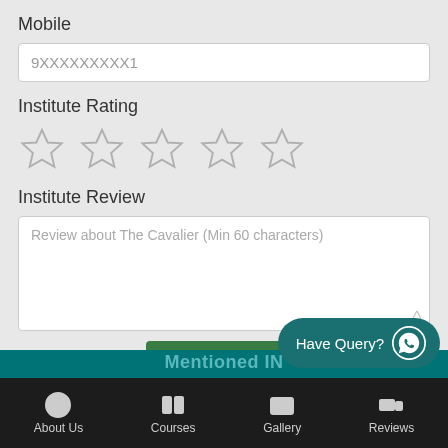Mobile
9XXXXXXXXX1
Institute Rating
[Figure (other): Five empty star rating icons in a row for Institute Rating]
Institute Review
Review about The Cavalier (Min 60 characters)
Save Review
Have Query?
Mentioned IN
About Us  Courses  Gallery  Reviews